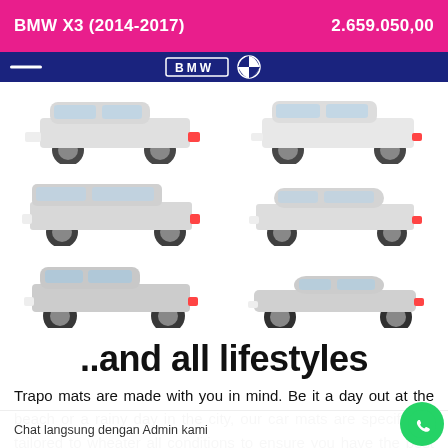BMW X3 (2014-2017)   2.659.050,00
[Figure (illustration): Grid of 6 white car illustrations (SUVs, sedans, hatchbacks, sports cars) on white background, 2 columns x 3 rows]
..and all lifestyles
Trapo mats are made with you in mind. Be it a day out at the beach or a rainy day in the city, our car mats are specifically tailored to wheater all conditions to ensure you have the best driving...
Chat langsung dengan Admin kami